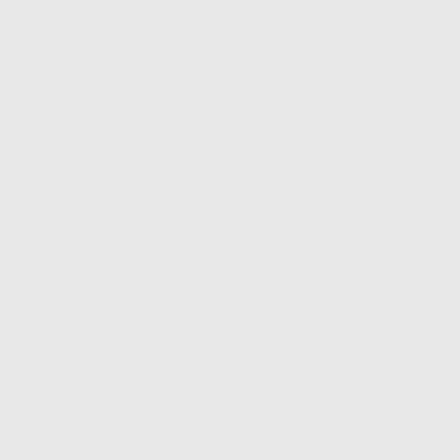QEvent.accept on event toggles whether or not the item will accept drops at the position from the event. By default, event is accepted, indicating that the item allows drops at the specified position.

Items